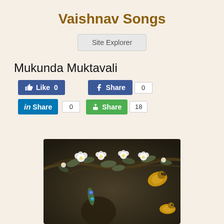Vaishnav Songs
Site Explorer
Mukunda Muktavali
Like 0 | Share 0 | Tweet 0 | Share 0 | Share 18
[Figure (illustration): Painting of a figure with peacock feather crown (likely Krishna) among flowering branches with parrots/birds]